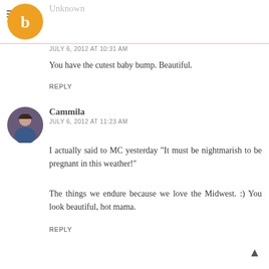[Figure (illustration): Blogger avatar icon, orange circle with letter b]
Unknown
JULY 6, 2012 AT 10:31 AM
You have the cutest baby bump. Beautiful.
REPLY
[Figure (photo): Cammila avatar photo, woman with glasses]
Cammila
JULY 6, 2012 AT 11:23 AM
I actually said to MC yesterday "It must be nightmarish to be pregnant in this weather!"
The things we endure because we love the Midwest. :) You look beautiful, hot mama.
REPLY